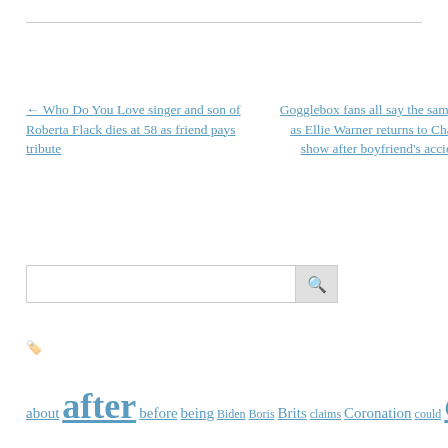← Who Do You Love singer and son of Roberta Flack dies at 58 as friend pays tribute
Gogglebox fans all say the same thing as Ellie Warner returns to Channel 4 show after boyfriend's accident →
🔍 [search input] [search button]
🏷️
about after before being Biden Boris Brits claims Coronation could Covid daughter death during EastEnders Emmerdale family first found holiday horoscope husband Inside Island Islands Kardashian Katie